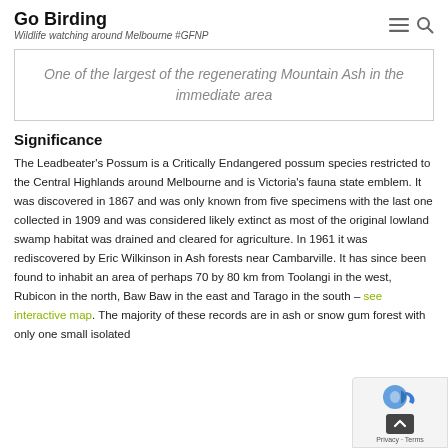Go Birding
Wildlife watching around Melbourne #GFNP
One of the largest of the regenerating Mountain Ash in the immediate area
Significance
The Leadbeater's Possum is a Critically Endangered possum species restricted to the Central Highlands around Melbourne and is Victoria's fauna state emblem. It was discovered in 1867 and was only known from five specimens with the last one collected in 1909 and was considered likely extinct as most of the original lowland swamp habitat was drained and cleared for agriculture. In 1961 it was rediscovered by Eric Wilkinson in Ash forests near Cambarville. It has since been found to inhabit an area of perhaps 70 by 80 km from Toolangi in the west, Rubicon in the north, Baw Baw in the east and Tarago in the south – see interactive map. The majority of these records are in ash or snow gum forest with only one small isolated